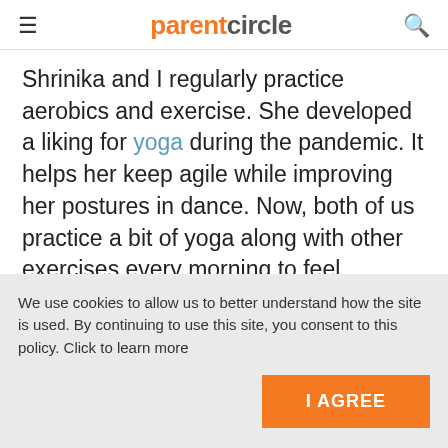parentcircle
Shrinika and I regularly practice aerobics and exercise. She developed a liking for yoga during the pandemic. It helps her keep agile while improving her postures in dance. Now, both of us practice a bit of yoga along with other exercises every morning to feel refreshed and stay fit.
We use cookies to allow us to better understand how the site is used. By continuing to use this site, you consent to this policy. Click to learn more
I AGREE